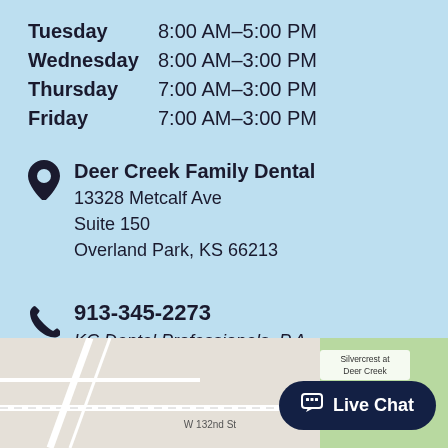Tuesday  8:00 AM–5:00 PM
Wednesday  8:00 AM–3:00 PM
Thursday  7:00 AM–3:00 PM
Friday  7:00 AM–3:00 PM
Deer Creek Family Dental
13328 Metcalf Ave
Suite 150
Overland Park, KS 66213
913-345-2273
KC Dental Professionals, P.A.
Dr. Mohn, DDS
[Figure (map): Google Maps screenshot showing area near W 132nd St and Metcalf Ave in Overland Park, KS, with Silvercrest at Deer Creek label visible]
Live Chat